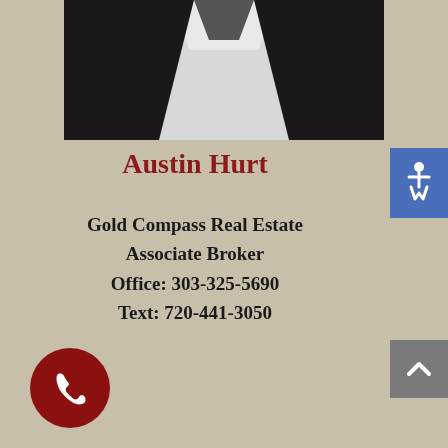[Figure (photo): Professional headshot photo of Austin Hurt wearing a dark suit and white shirt against a dark background]
Austin Hurt
Gold Compass Real Estate
Associate Broker
Office: 303-325-5690
Text: 720-441-3050
[Figure (illustration): Blue accessibility wheelchair icon button in top right corner]
[Figure (illustration): Gray scroll-to-top arrow button on right side]
[Figure (illustration): Dark red circular phone call button in bottom left corner]